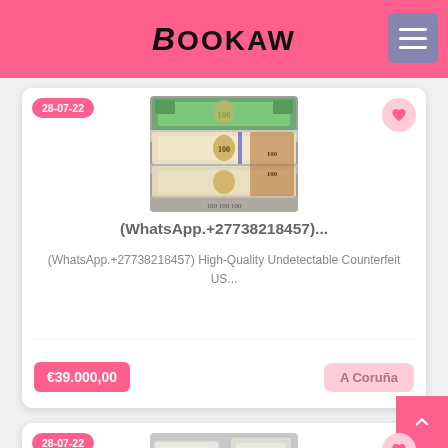BOOKAW
[Figure (screenshot): Bookaw website listing page showing a card with counterfeit US dollar bills image, title '(WhatsApp.+27738218457)...', description text, price €39,000,00, and location A Coruña. A second card is partially visible at the bottom with date 28-07-22.]
(WhatsApp.+27738218457)...
(WhatsApp.+27738218457) High-Quality Undetectable Counterfeit US...
€39.000,00
A Coruña